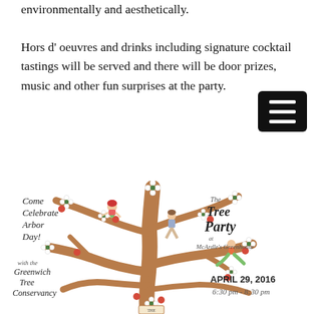environmentally and aesthetically.
Hors d' oeuvres and drinks including signature cocktail tastings will be served and there will be door prizes, music and other fun surprises at the party.
[Figure (illustration): An illustrated tree party invite showing a decorated flowering tree with people sitting in the branches. Text reads: 'Come Celebrate Arbor Day!' on the left, 'The Tree Party at McArdle's Greenhouse' on the right, 'with the Greenwich Tree Conservancy' on the lower left, and 'APRIL 29, 2016 6:30pm - 8:30pm' on the lower right.]